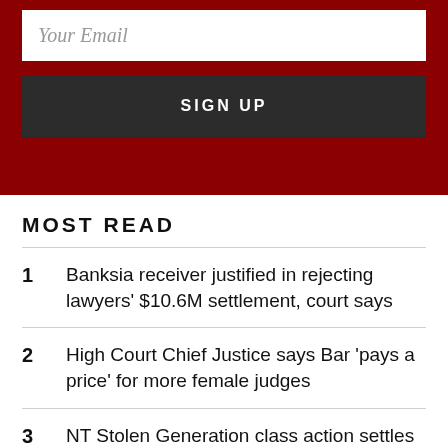[Figure (screenshot): Dark red background with email input field showing 'Your Email' placeholder and a dark 'SIGN UP' button below it]
MOST READ
1  Banksia receiver justified in rejecting lawyers' $10.6M settlement, court says
2  High Court Chief Justice says Bar 'pays a price' for more female judges
3  NT Stolen Generation class action settles for $50M